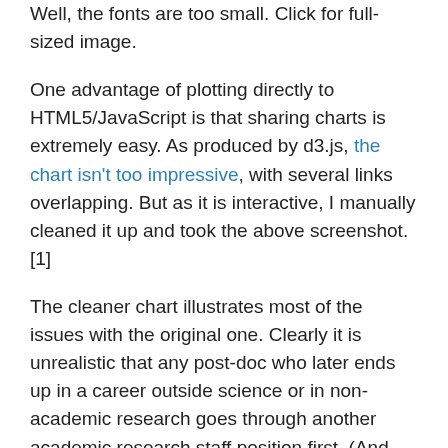Well, the fonts are too small. Click for full-sized image.
One advantage of plotting directly to HTML5/JavaScript is that sharing charts is extremely easy. As produced by d3.js, the chart isn't too impressive, with several links overlapping. But as it is interactive, I manually cleaned it up and took the above screenshot.[1]
The cleaner chart illustrates most of the issues with the original one. Clearly it is unrealistic that any post-doc who later ends up in a career outside science or in non-academic research goes through another academic research staff position first. (And some go from post-doc